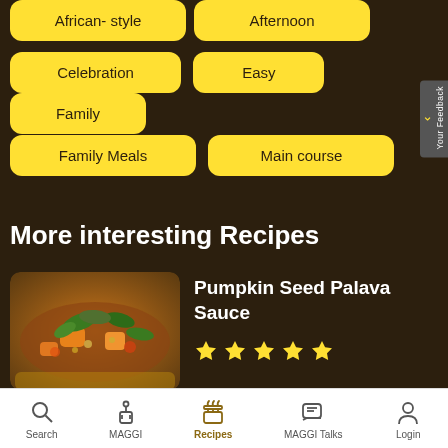African-style
Afternoon
Celebration
Easy
Family
Family Meals
Main course
More interesting Recipes
[Figure (photo): Photo of Pumpkin Seed Palava Sauce dish - a colorful stew with greens, orange pumpkin, and other vegetables in a bowl]
Pumpkin Seed Palava Sauce
[Figure (other): 5 yellow star rating icons]
Search | MAGGI | Recipes | MAGGI Talks | Login